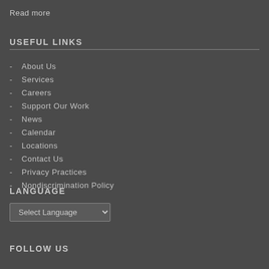Read more
USEFUL LINKS
- About Us
- Services
- Careers
- Support Our Work
- News
- Calendar
- Locations
- Contact Us
- Privacy Practices
- Nondiscrimination Policy
LANGUAGE
Select Language
FOLLOW US